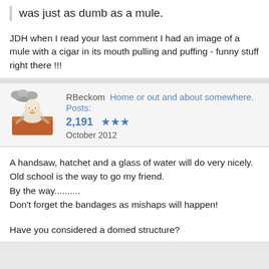was just as dumb as a mule.
JDH when I read your last comment I had an image of a mule with a cigar in its mouth pulling and puffing - funny stuff right there !!!
RBeckom Home or out and about somewhere.  Posts: 2,191  ★★★  October 2012
A handsaw, hatchet and a glass of water will do very nicely.
Old school is the way to go my friend.
By the way..........
Don't forget the bandages as mishaps will happen!
Have you considered a domed structure?